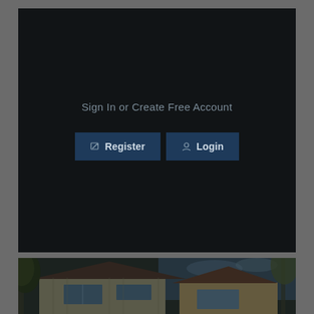[Figure (screenshot): Dark-themed web UI panel with 'Sign In or Create Free Account' text and two buttons: Register and Login, on a very dark background]
Sign In or Create Free Account
Register
Login
[Figure (photo): Photograph of a house exterior showing siding, windows, and a tree, with a dark overlay]